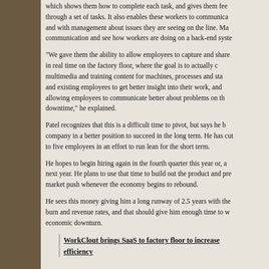which shows them how to complete each task, and gives them feedback through a set of tasks. It also enables these workers to communicate and with management about issues they are seeing on the line. Management can see communication and see how workers are doing on a back-end system.
“We gave them the ability to allow employees to capture and share in real time on the factory floor, where the goal is to actually create multimedia and training content for machines, processes and stations, and existing employees to get better insight into their work, and allowing employees to communicate better about problems on the line to reduce downtime,” he explained.
Patel recognizes that this is a difficult time to pivot, but says he believes it will put the company in a better position to succeed in the long term. He has cut the company back to five employees in an effort to run lean for the short term.
He hopes to begin hiring again in the fourth quarter this year or, at the latest, early next year. He plans to use that time to build out the product and prepare for a market push whenever the economy begins to rebound.
He sees this money giving him a long runway of 2.5 years with the current burn and revenue rates, and that should give him enough time to weather the economic downturn.
WorkClout brings SaaS to factory floor to increase efficiency